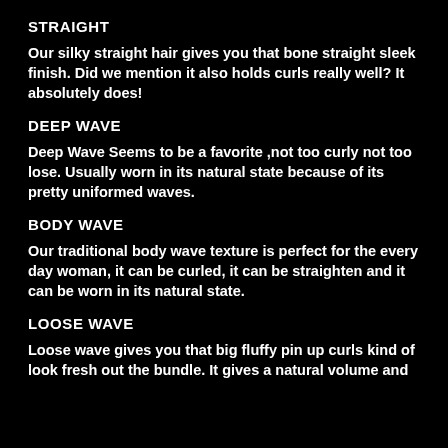STRAIGHT
Our silky straight hair gives you that bone straight sleek finish. Did we mention it also holds curls really well? It absolutely does!
DEEP WAVE
Deep Wave Seems to be a favorite ,not too curly not too lose. Usually worn in its natural state because of its pretty uniformed waves.
BODY WAVE
Our traditional body wave texture is perfect for the every day woman, it can be curled, it can be straighten and it can be worn in its natural state.
LOOSE WAVE
Loose wave gives you that big fluffy pin up curls kind of look fresh out the bundle. It gives a natural volume and